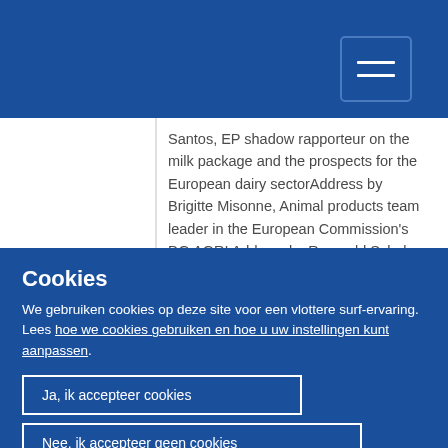Santos, EP shadow rapporteur on the milk package and the prospects for the European dairy sectorAddress by Brigitte Misonne, Animal products team leader in the European Commission's DG AGRI Address by Romuald Schaber, president of the European Milk Board
04 Mar
Cookies
We gebruiken cookies op deze site voor een vlottere surf-ervaring. Lees hoe we cookies gebruiken en hoe u uw instellingen kunt aanpassen.
Ja, ik accepteer cookies
Nee, ik accepteer geen cookies